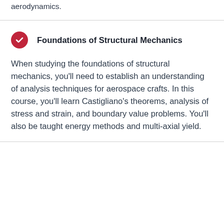aerodynamics.
Foundations of Structural Mechanics
When studying the foundations of structural mechanics, you'll need to establish an understanding of analysis techniques for aerospace crafts. In this course, you'll learn Castigliano's theorems, analysis of stress and strain, and boundary value problems. You'll also be taught energy methods and multi-axial yield.